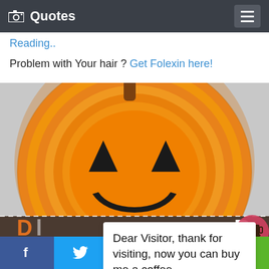Quotes
Reading..
Problem with Your hair ? Get Folexin here!
[Figure (photo): A paper plate painted orange and decorated as a jack-o-lantern pumpkin face with black paper triangles for eyes and a smiling mouth cutout, with a brown stem at top, on a gray background.]
Dear Visitor, thank for visiting, now you can buy me a coffee.
f  [twitter bird]  [pinterest P]  SMS  [share icon]